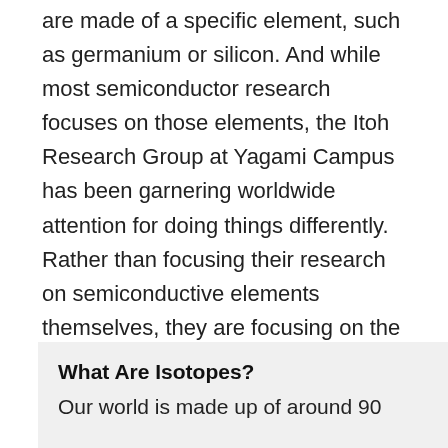are made of a specific element, such as germanium or silicon. And while most semiconductor research focuses on those elements, the Itoh Research Group at Yagami Campus has been garnering worldwide attention for doing things differently. Rather than focusing their research on semiconductive elements themselves, they are focusing on the isotopes within a single element, which are classified according to the difference in their neutron number.
What Are Isotopes?
Our world is made up of around 90